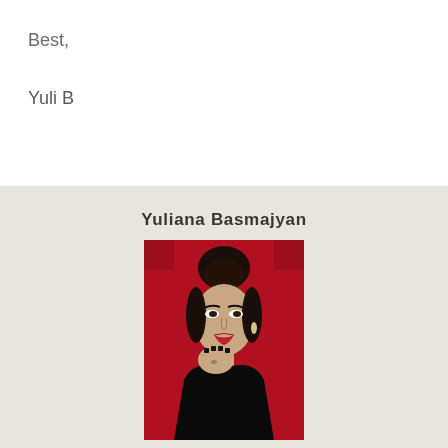Best,
Yuli B
Yuliana Basmajyan
[Figure (photo): Portrait photo of Yuliana Basmajyan, a woman with dark hair in an updo, wearing a black outfit and dangling earrings, posing against a red background with her hand near her face, wearing red lipstick and black nail polish.]